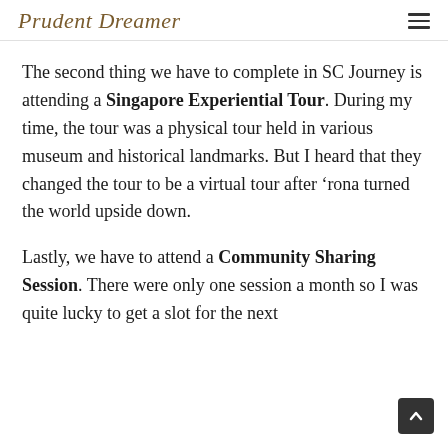Prudent Dreamer
The second thing we have to complete in SC Journey is attending a Singapore Experiential Tour. During my time, the tour was a physical tour held in various museum and historical landmarks. But I heard that they changed the tour to be a virtual tour after ‘rona turned the world upside down.
Lastly, we have to attend a Community Sharing Session. There were only one session a month so I was quite lucky to get a slot for the next